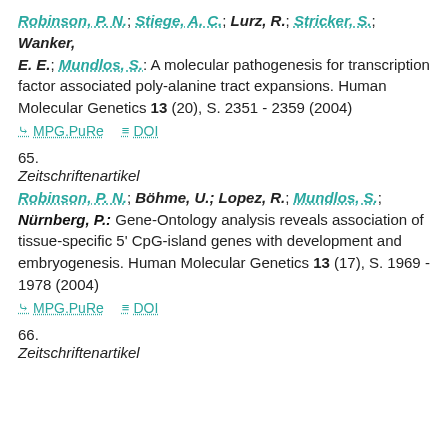Robinson, P. N.; Stiege, A. C.; Lurz, R.; Stricker, S.; Wanker, E. E.; Mundlos, S.: A molecular pathogenesis for transcription factor associated poly-alanine tract expansions. Human Molecular Genetics 13 (20), S. 2351 - 2359 (2004)
MPG.PuRe   DOI
65.
Zeitschriftenartikel
Robinson, P. N.; Böhme, U.; Lopez, R.; Mundlos, S.; Nürnberg, P.: Gene-Ontology analysis reveals association of tissue-specific 5' CpG-island genes with development and embryogenesis. Human Molecular Genetics 13 (17), S. 1969 - 1978 (2004)
MPG.PuRe   DOI
66.
Zeitschriftenartikel